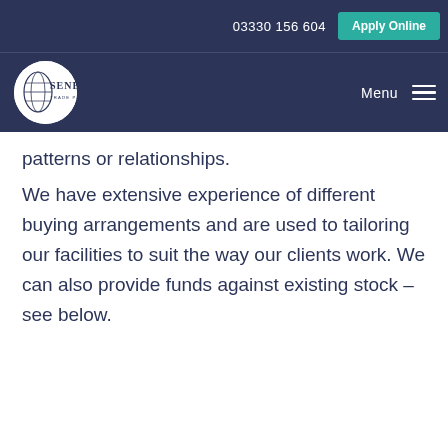03330 156 604  Apply Online
[Figure (logo): Seneca Trade Partners Ltd logo — white circle with SENECA text and globe graphic]
patterns or relationships.
We have extensive experience of different buying arrangements and are used to tailoring our facilities to suit the way our clients work. We can also provide funds against existing stock – see below.